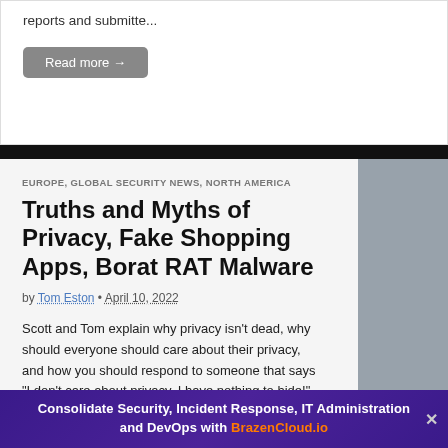reports and submitte...
Read more →
EUROPE, GLOBAL SECURITY NEWS, NORTH AMERICA
Truths and Myths of Privacy, Fake Shopping Apps, Borat RAT Malware
by Tom Eston • April 10, 2022
Scott and Tom explain why privacy isn't dead, why should everyone should care about their privacy, and how you should respond to someone that says "I don't care about privacy, I have nothing to hide!"
Consolidate Security, Incident Response, IT Administration and DevOps with BrazenCloud.io